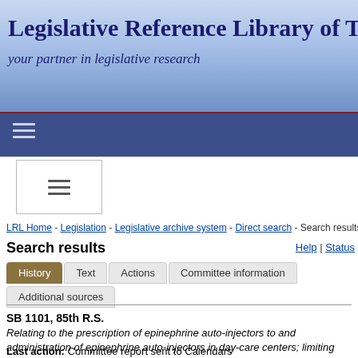Legislative Reference Library of Texas
your partner in legislative research
LRL Home - Legislation - Legislative archive system - Direct search - Search results
Search results
Help | Status
History
Text
Actions
Committee information
Additional sources
SB 1101, 85th R.S.
Relating to the prescription of epinephrine auto-injectors to and administration of epinephrine auto-injectors in day-care centers; limiting liability.
Last action: Committee report sent to Calendars